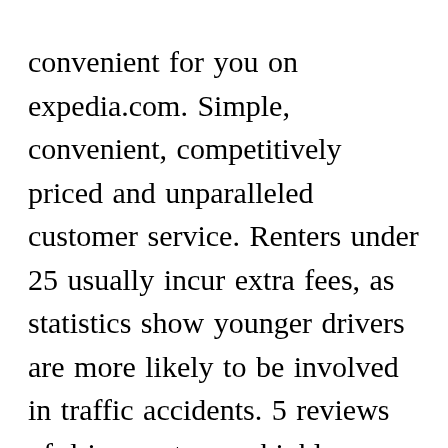convenient for you on expedia.com. Simple, convenient, competitively priced and unparalleled customer service. Renters under 25 usually incur extra fees, as statistics show younger drivers are more likely to be involved in traffic accidents. 5 reviews of drivo rent a car highly recommend! Visa ® mastercard ® american express ® discover ® credit and debit cards eligible credit cards must have the cost of the rental plus additional funds of $200 available t[CLOSE X]e the rental, and